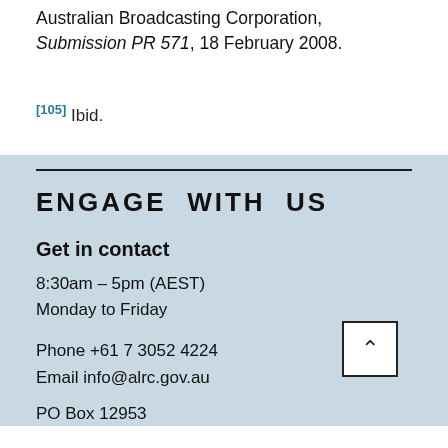Australian Broadcasting Corporation, Submission PR 571, 18 February 2008.
[105] Ibid.
ENGAGE WITH US
Get in contact
8:30am – 5pm (AEST)
Monday to Friday
Phone +61 7 3052 4224
Email info@alrc.gov.au
PO Box 12953